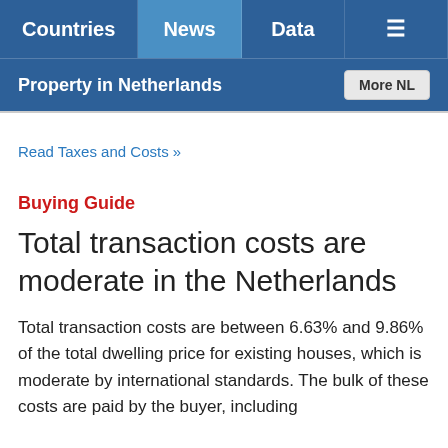Countries | News | Data | ☰
Property in Netherlands | More NL
Read Taxes and Costs »
Buying Guide
Total transaction costs are moderate in the Netherlands
Total transaction costs are between 6.63% and 9.86% of the total dwelling price for existing houses, which is moderate by international standards. The bulk of these costs are paid by the buyer, including